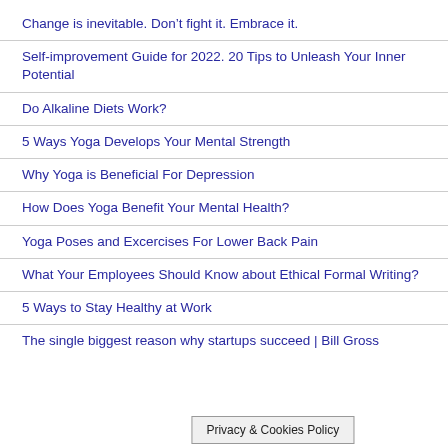Change is inevitable. Don’t fight it. Embrace it.
Self-improvement Guide for 2022. 20 Tips to Unleash Your Inner Potential
Do Alkaline Diets Work?
5 Ways Yoga Develops Your Mental Strength
Why Yoga is Beneficial For Depression
How Does Yoga Benefit Your Mental Health?
Yoga Poses and Excercises For Lower Back Pain
What Your Employees Should Know about Ethical Formal Writing?
5 Ways to Stay Healthy at Work
The single biggest reason why startups succeed | Bill Gross
Privacy & Cookies Policy